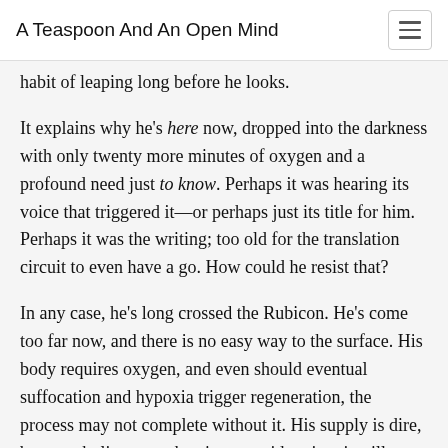A Teaspoon And An Open Mind
habit of leaping long before he looks.
It explains why he's here now, dropped into the darkness with only twenty more minutes of oxygen and a profound need just to know. Perhaps it was hearing its voice that triggered it—or perhaps just its title for him. Perhaps it was the writing; too old for the translation circuit to even have a go. How could he resist that?
In any case, he's long crossed the Rubicon. He's come too far now, and there is no easy way to the surface. His body requires oxygen, and even should eventual suffocation and hypoxia trigger regeneration, the process may not complete without it. His supply is dire, but metabolic rates taken into consideration, it will outlast Ida's. She says as much aloud, over the comm line, that she doesn't want to die by on her own, and he sidesteps the plea. Even if he'd